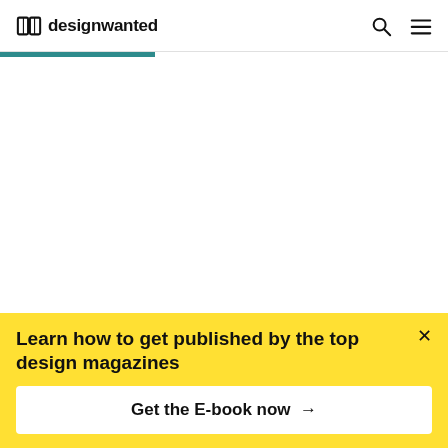designwanted
[Figure (screenshot): White blank content area below navigation header]
Design Masters outline tomorrow
Learn how to get published by the top design magazines
Get the E-book now →